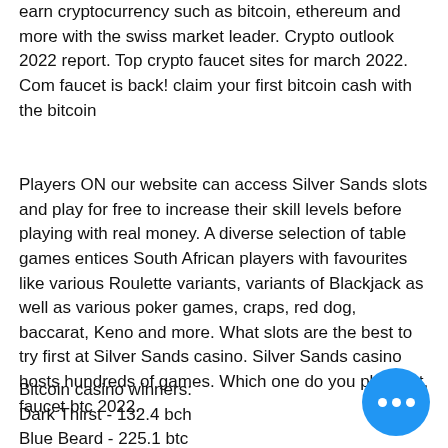earn cryptocurrency such as bitcoin, ethereum and more with the swiss market leader. Crypto outlook 2022 report. Top crypto faucet sites for march 2022. Com faucet is back! claim your first bitcoin cash with the bitcoin
Players ON our website can access Silver Sands slots and play for free to increase their skill levels before playing with real money. A diverse selection of table games entices South African players with favourites like various Roulette variants, variants of Blackjack as well as various poker games, craps, red dog, baccarat, Keno and more. What slots are the best to try first at Silver Sands casino. Silver Sands casino hosts hundreds of games. Which one do you play first, faucet btc 2022.
Bitcoin casino winners:
Dark Thirst - 132.4 bch
Blue Beard - 225.1 btc